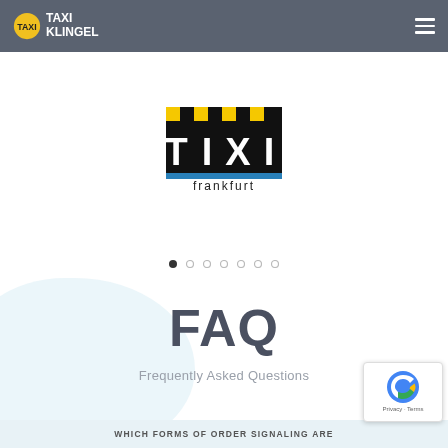Taxi Klingel — navigation bar with hamburger menu
[Figure (logo): Taxi Frankfurt logo: black and yellow checkerboard taxi sign with 'frankfurt' text below]
[Figure (other): Carousel navigation dots: 7 dots, first one filled/active, rest hollow grey]
FAQ
Frequently Asked Questions
WHICH FORMS OF ORDER SIGNALING ARE